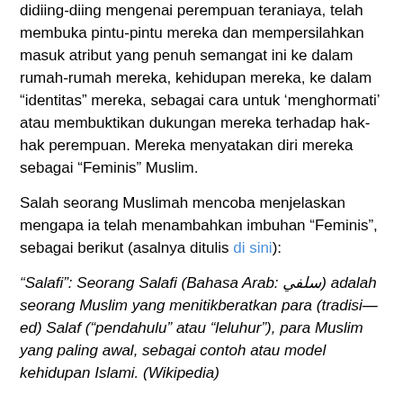didiing-diing mengenai perempuan teraniaya, telah membuka pintu-pintu mereka dan mempersilahkan masuk atribut yang penuh semangat ini ke dalam rumah-rumah mereka, kehidupan mereka, ke dalam “identitas” mereka, sebagai cara untuk ‘menghormati’ atau membuktikan dukungan mereka terhadap hak-hak perempuan. Mereka menyatakan diri mereka sebagai “Feminis” Muslim.
Salah seorang Muslimah mencoba menjelaskan mengapa ia telah menambahkan imbuhan “Feminis”, sebagai berikut (asalnya ditulis di sini):
“Salafi”: Seorang Salafi (Bahasa Arab: سلفي) adalah seorang Muslim yang menitikberatkan para (tradisi—ed) Salaf (“pendahulu” atau “leluhur”), para Muslim yang paling awal, sebagai contoh atau model kehidupan Islami. (Wikipedia)